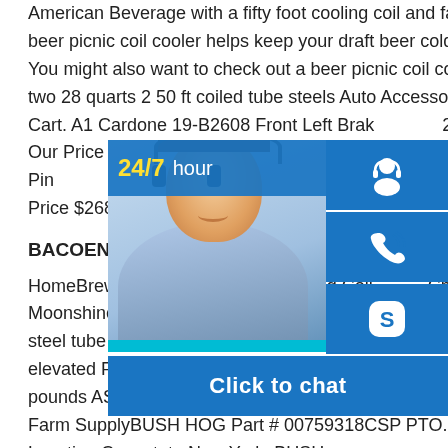American Beverage with a fifty foot cooling coil and faucet included. This beer picnic coil cooler helps keep your draft beer cold from keg to faucet. You might also want to check out a beer picnic coil cooler that dispenses two 28 quarts 2 50 ft coiled tube steels Auto Accessories sportsre... Cart. A1 Cardone 19-B2608 Front Left Brake ... 2003 Mazda Protege5. Our Price $72.61. Q... Add To Cart. A1 Cardone 22-1000 Rack Pin... for 1999-2006 GMC Sierra 15002007-2007 ... Classic. Our Price $268.39.
BACOENG Food Grade Super Efficient 5...
HomeBrewStuff Stainless Steel Tubing Coil ... Chiller, HERMS, or Moonshine Snake 28 quarts 2 50 ft coiled tube steels 50 feet of stainless steel tube 0.5mm wall tubing 24" height 9.9" diameter coil Coils can be elevated Food grade hose(33-220) 28 quarts 2 50 ft coiled tube steels 5.28 pounds ASIN B07C3QQ2QZ Customer BUSH HOG Parts For Sale White's Farm SupplyBUSH HOG Part # 00759318CSP PTO. PTO. Price $307.10. Location Canastota New York. BUSH...
[Figure (infographic): Customer support chat widget showing a 24/7 hour label, a photo of a smiling customer service agent with headset, three blue icon boxes (person/headset icon, phone/call icon, Skype icon), and a blue 'Click to chat' bar at the bottom.]